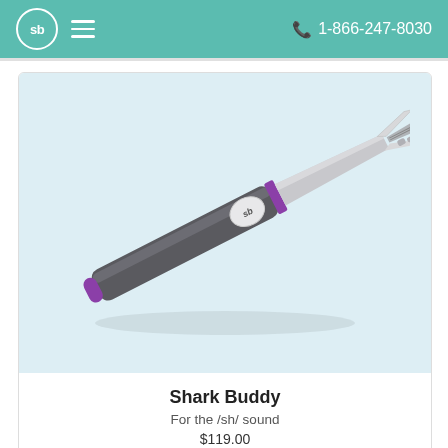sb  ≡   📞 1-866-247-8030
[Figure (photo): Product photo of the Shark Buddy speech therapy tool — a pen-shaped device with a dark gray body, purple accent ring, and a silver bifurcated tip for /sh/ sound articulation therapy.]
Shark Buddy
For the /sh/ sound
$119.00